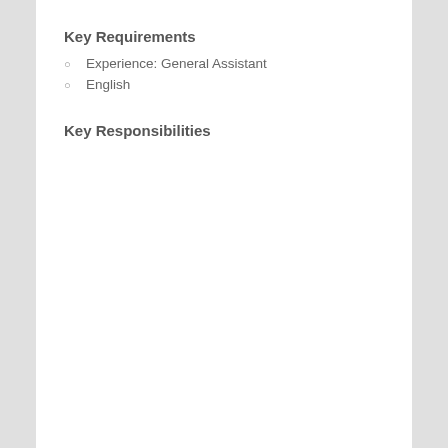Key Requirements
Experience: General Assistant
English
Key Responsibilities